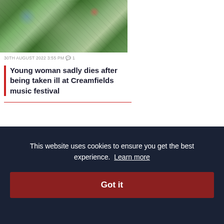[Figure (photo): Aerial view of Creamfields music festival showing circular field layout with tents, crowds, and green farmland surroundings]
30TH AUGUST 2022 3:55 PM 🗨 1
Young woman sadly dies after being taken ill at Creamfields music festival
This website uses cookies to ensure you get the best experience. Learn more
Got it